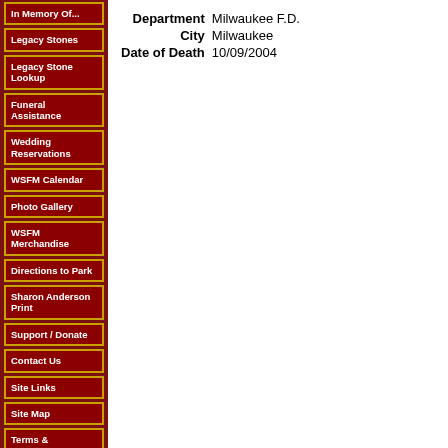In Memory Of...
Legacy Stones
Legacy Stone Lookup
Funeral Assistance
Wedding Reservations
WSFM Calendar
Photo Gallery
WSFM Merchandise
Directions to Park
Sharon Anderson Print
Support / Donate
Contact Us
Site Links
Site Map
Terms & Conditions
Park Cleanup Calendar
| Field | Value |
| --- | --- |
| Department | Milwaukee F.D. |
| City | Milwaukee |
| Date of Death | 10/09/2004 |